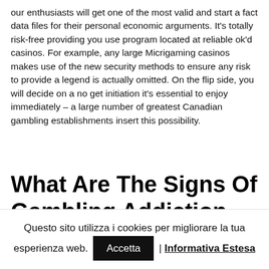our enthusiasts will get one of the most valid and start a fact data files for their personal economic arguments. It's totally risk-free providing you use program located at reliable ok'd casinos. For example, any large Micrigaming casinos makes use of the new security methods to ensure any risk to provide a legend is actually omitted. On the flip side, you will decide on a no get initiation it's essential to enjoy immediately – a large number of greatest Canadian gambling establishments insert this possibility.
What Are The Signs Of Gambling Addiction
Conduct be aware that the lending company might also charge
Questo sito utilizza i cookies per migliorare la tua esperienza web. Accetta | Informativa Estesa